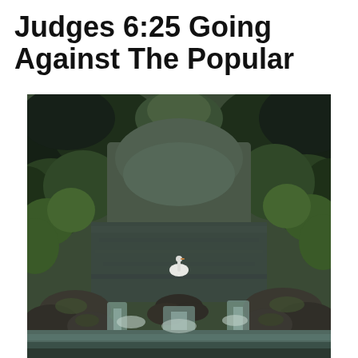Judges 6:25 Going Against The Popular
[Figure (photo): A nature photograph of a river or stream flowing through dense green trees and foliage. A white swan is visible in the middle of the water. In the foreground, water cascades over rocks forming a small waterfall. The scene is lush and green, taken on an overcast day.]